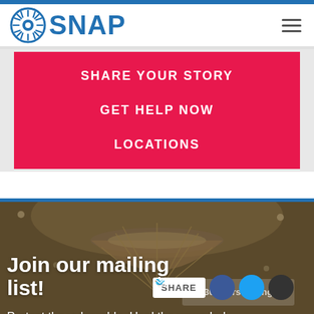SNAP
SHARE YOUR STORY
GET HELP NOW
LOCATIONS
[Figure (photo): Photo of a ballroom chandelier ceiling with a banner reading '30 Years Strong' partially visible, dimly lit warm tones. Overlaid with text 'Join our mailing list!' and social share buttons (Facebook, Twitter, email), plus the tagline 'Protect the vulnerable. Heal the wounded.']
Join our mailing list!
Protect the vulnerable. Heal the wounded.